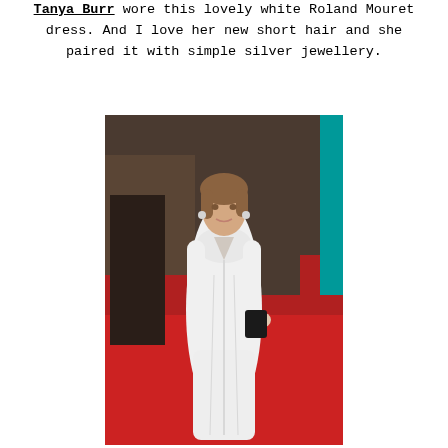Tanya Burr wore this lovely white Roland Mouret dress. And I love her new short hair and she paired it with simple silver jewellery.
[Figure (photo): Tanya Burr standing on a red carpet wearing a white Roland Mouret long-sleeve ruffle-front gown, with short wavy hair and silver earrings. People and stairs visible in background.]